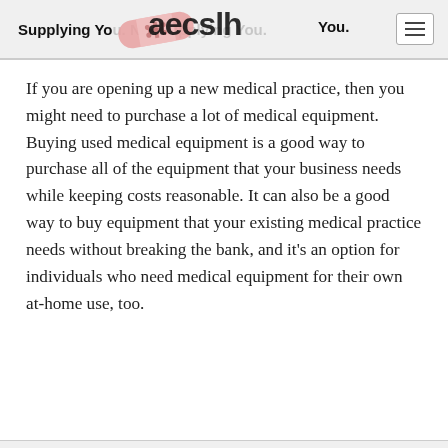Supplying You. Not Supplying You.
If you are opening up a new medical practice, then you might need to purchase a lot of medical equipment. Buying used medical equipment is a good way to purchase all of the equipment that your business needs while keeping costs reasonable. It can also be a good way to buy equipment that your existing medical practice needs without breaking the bank, and it's an option for individuals who need medical equipment for their own at-home use, too.